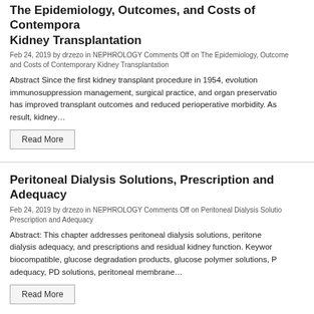The Epidemiology, Outcomes, and Costs of Contemporary Kidney Transplantation
Feb 24, 2019 by drzezo in NEPHROLOGY Comments Off on The Epidemiology, Outcomes, and Costs of Contemporary Kidney Transplantation
Abstract Since the first kidney transplant procedure in 1954, evolution in immunosuppression management, surgical practice, and organ preservation has improved transplant outcomes and reduced perioperative morbidity. As a result, kidney…
Read More
Peritoneal Dialysis Solutions, Prescription and Adequacy
Feb 24, 2019 by drzezo in NEPHROLOGY Comments Off on Peritoneal Dialysis Solutions, Prescription and Adequacy
Abstract: This chapter addresses peritoneal dialysis solutions, peritoneal dialysis adequacy, and prescriptions and residual kidney function. Keywords: biocompatible, glucose degradation products, glucose polymer solutions, PD adequacy, PD solutions, peritoneal membrane…
Read More